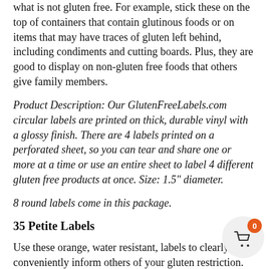what is not gluten free. For example, stick these on the top of containers that contain glutinous foods or on items that may have traces of gluten left behind, including condiments and cutting boards. Plus, they are good to display on non-gluten free foods that others give family members.
Product Description: Our GlutenFreeLabels.com circular labels are printed on thick, durable vinyl with a glossy finish. There are 4 labels printed on a perforated sheet, so you can tear and share one or more at a time or use an entire sheet to label 4 different gluten free products at once. Size: 1.5″ diameter.
8 round labels come in this package.
35 Petite Labels
Use these orange, water resistant, labels to clearly and conveniently inform others of your gluten restriction. Example of uses: zip lock bags, smaller containers, tags, left overs, frozen foods, dishes and more!